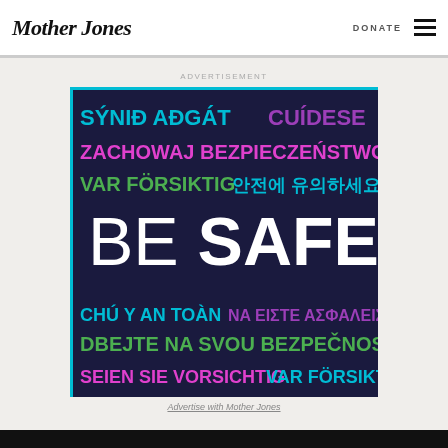Mother Jones | DONATE
ADVERTISEMENT
[Figure (infographic): Multilingual 'BE SAFE' public health advertisement on dark navy background with colorful text in multiple languages: SÝNIĐ AÐGÁT (teal), CUÍDESE (purple), ZACHOWAJ BEZPIECZEŃSTWO (pink/magenta), VAR FÖRSIKTIG (green), 안전에 유의하세요 (teal), BE SAFE (white, large), CHÚ Y AN TOÀN (teal), NA EIΣTE AΣΦAΛEIΣ (purple), DBEJTE NA SVOU BEZPEČNOST (green), SEIEN SIE VORSICHTIG (pink), VAR FÖRSIKTIG (teal)]
Advertise with Mother Jones